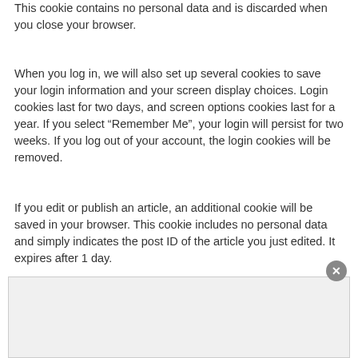This cookie contains no personal data and is discarded when you close your browser.
When you log in, we will also set up several cookies to save your login information and your screen display choices. Login cookies last for two days, and screen options cookies last for a year. If you select “Remember Me”, your login will persist for two weeks. If you log out of your account, the login cookies will be removed.
If you edit or publish an article, an additional cookie will be saved in your browser. This cookie includes no personal data and simply indicates the post ID of the article you just edited. It expires after 1 day.
Embedded content from
[Figure (other): Grey overlay box at the bottom of the page with a close (x) button]